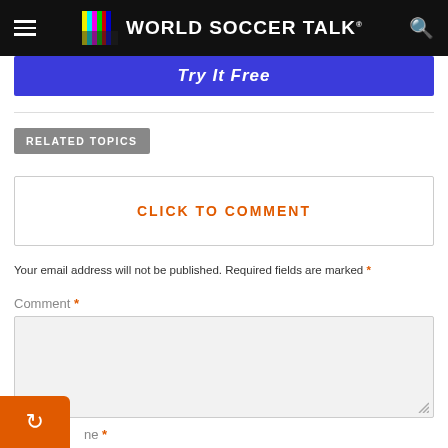World Soccer Talk
[Figure (screenshot): Try it Free blue button banner]
RELATED TOPICS
CLICK TO COMMENT
Your email address will not be published. Required fields are marked *
Comment *
ne *